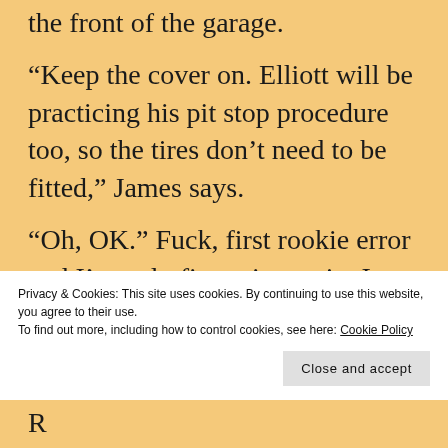the front of the garage.
“Keep the cover on. Elliott will be practicing his pit stop procedure too, so the tires don’t need to be fitted,” James says.
“Oh, OK.” Fuck, first rookie error and I’m only five minutes in. I start beating myself up. Hopefully the tires will warm back up to temperature again before we need
Privacy & Cookies: This site uses cookies. By continuing to use this website, you agree to their use.
To find out more, including how to control cookies, see here: Cookie Policy
Close and accept
R